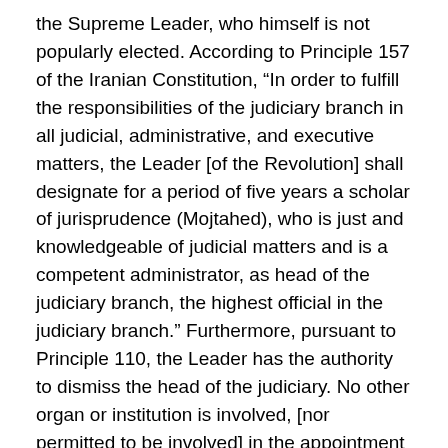the Supreme Leader, who himself is not popularly elected. According to Principle 157 of the Iranian Constitution, “In order to fulfill the responsibilities of the judiciary branch in all judicial, administrative, and executive matters, the Leader [of the Revolution] shall designate for a period of five years a scholar of jurisprudence (Mojtahed), who is just and knowledgeable of judicial matters and is a competent administrator, as head of the judiciary branch, the highest official in the judiciary branch.” Furthermore, pursuant to Principle 110, the Leader has the authority to dismiss the head of the judiciary. No other organ or institution is involved, [nor permitted to be involved] in the appointment and dismissal of the head of the judiciary branch. Judges and members of the parliament have no right or say in the selection, dismissal, or reprimand of the head of the judiciary. Therefore, the Leader can dismiss the head of the judiciary at any time and appoint another as he deems fit, without having to answer to any other authority. This manner of selecting the head of the judiciary undoubtedly impedes judicial independence and lays the groundwork for the exertion of influence on the judiciary by the Leader and his affiliated